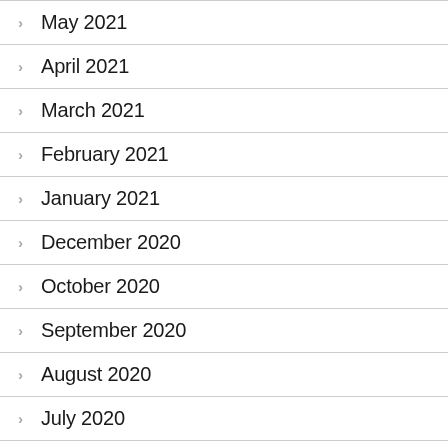May 2021
April 2021
March 2021
February 2021
January 2021
December 2020
October 2020
September 2020
August 2020
July 2020